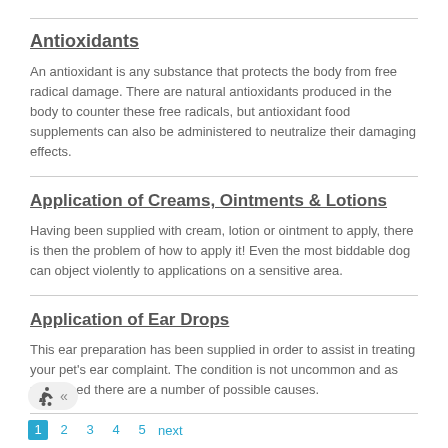Antioxidants
An antioxidant is any substance that protects the body from free radical damage. There are natural antioxidants produced in the body to counter these free radicals, but antioxidant food supplements can also be administered to neutralize their damaging effects.
Application of Creams, Ointments & Lotions
Having been supplied with cream, lotion or ointment to apply, there is then the problem of how to apply it! Even the most biddable dog can object violently to applications on a sensitive area.
Application of Ear Drops
This ear preparation has been supplied in order to assist in treating your pet's ear complaint. The condition is not uncommon and as mentioned there are a number of possible causes.
1 2 3 4 5 next